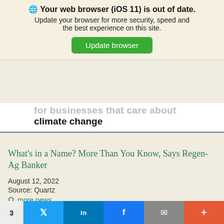Your web browser (iOS 11) is out of date. Update your browser for more security, speed and the best experience on this site. Update browser
for businesses that care about climate change
What's in a Name? More Than You Know, Says Regen-Ag Banker
August 12, 2022
Source: Quartz
more news...
FINANCING RENEWABLE ENERGY
CLEAN ENERGY FINANCE FORUM
3  Twitter  in  f  mail  +